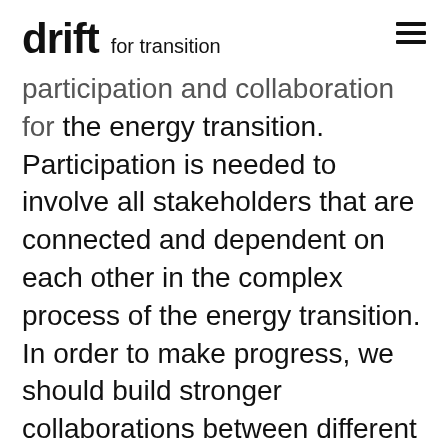drift for transition
participation and collaboration for the energy transition. Participation is needed to involve all stakeholders that are connected and dependent on each other in the complex process of the energy transition. In order to make progress, we should build stronger collaborations between different stakeholders. Taking a walk on the social side of the energy transition is necessary, and results in inspiration and new connections.